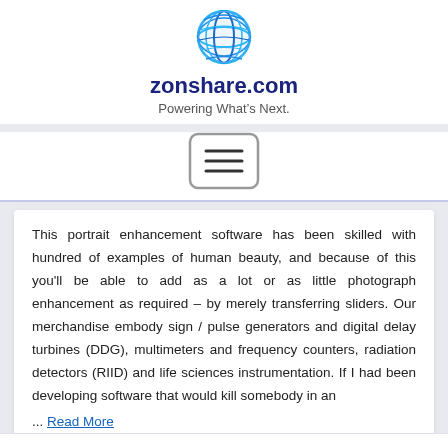[Figure (logo): Zonshare.com globe/sphere logo in blue tones]
zonshare.com
Powering What's Next.
[Figure (other): Hamburger menu button icon with three horizontal lines inside a rounded rectangle border]
This portrait enhancement software has been skilled with hundred of examples of human beauty, and because of this you'll be able to add as a lot or as little photograph enhancement as required – by merely transferring sliders. Our merchandise embody sign / pulse generators and digital delay turbines (DDG), multimeters and frequency counters, radiation detectors (RIID) and life sciences instrumentation. If I had been developing software that would kill somebody in an ... Read More